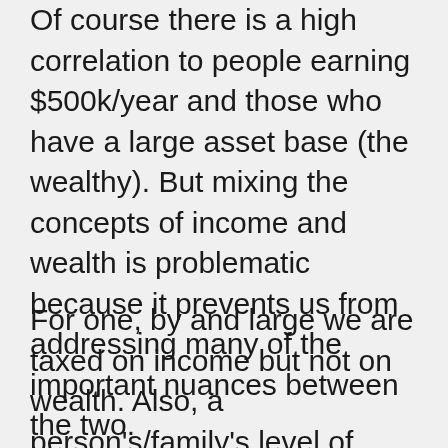Of course there is a high correlation to people earning $500k/year and those who have a large asset base (the wealthy). But mixing the concepts of income and wealth is problematic because it prevents us from addressing many of the important nuances between the two.
For one, by and large we are taxed on income but not on wealth. Also, a person's/family's level of wealth is a big determinant of choices that are made regarding income. Take a family with two professional earners at the upper end, say $250k each, which pays for childcare 5 days a week. If this family had assets of